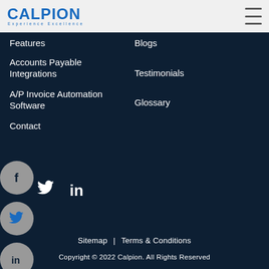[Figure (logo): Calpion logo with text 'Experience Excellence']
Features
Accounts Payable Integrations
A/P Invoice Automation Software
Contact
Blogs
Testimonials
Glossary
[Figure (illustration): Facebook, Twitter, LinkedIn social media icons — circular grey buttons on left side plus inline row]
Sitemap | Terms & Conditions
Copyright © 2022 Calpion. All Rights Reserved